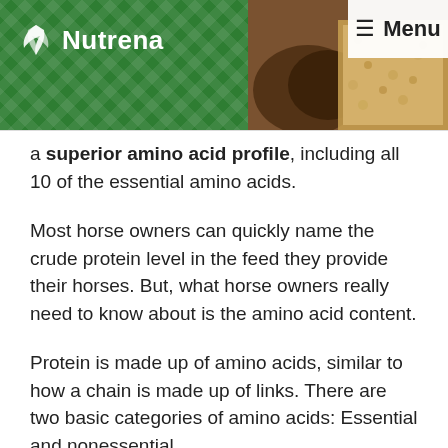[Figure (logo): Nutrena logo on green diamond-patterned background with food image banner]
Menu
a superior amino acid profile, including all 10 of the essential amino acids.
Most horse owners can quickly name the crude protein level in the feed they provide their horses. But, what horse owners really need to know about is the amino acid content.
Protein is made up of amino acids, similar to how a chain is made up of links. There are two basic categories of amino acids: Essential and nonessential.
Essential amino acids must be provided in the diet, as the horse cannot create them on its own in the digestive tract, where the nonessential amino acids can be made